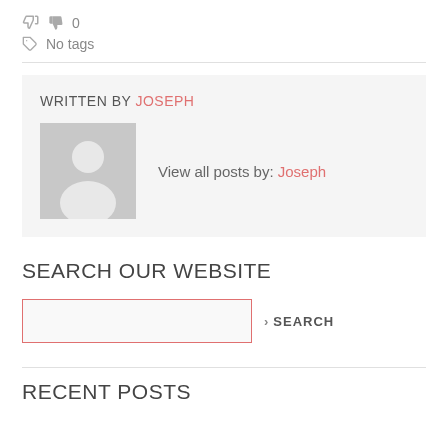0
No tags
WRITTEN BY JOSEPH
[Figure (illustration): Default user avatar placeholder — gray square with white silhouette of a person (head and shoulders)]
View all posts by: Joseph
SEARCH OUR WEBSITE
> SEARCH
RECENT POSTS